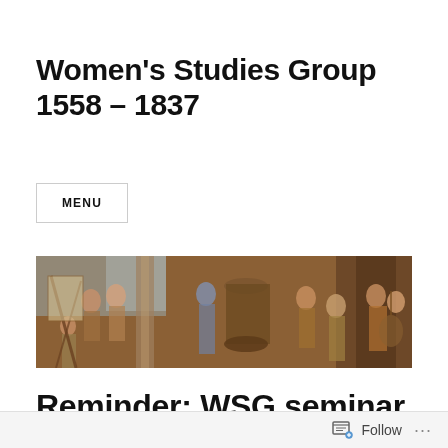Women's Studies Group 1558 – 1837
MENU
[Figure (illustration): A classical painting depicting multiple women figures in historical dress, some near an easel and painting equipment, others near a large decorative vessel or column, with one playing a lute-like instrument. The painting has warm golden-brown tones typical of old master style.]
Reminder: WSG seminar January 2021
Follow